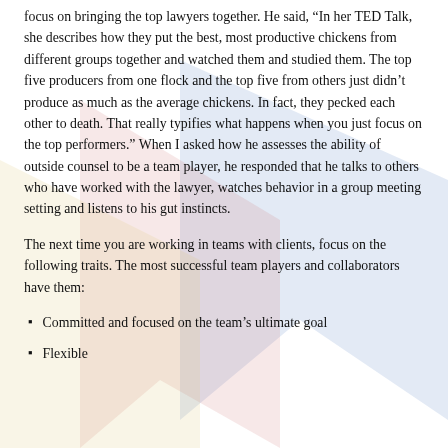focus on bringing the top lawyers together. He said, “In her TED Talk, she describes how they put the best, most productive chickens from different groups together and watched them and studied them. The top five producers from one flock and the top five from others just didn’t produce as much as the average chickens. In fact, they pecked each other to death. That really typifies what happens when you just focus on the top performers.” When I asked how he assesses the ability of outside counsel to be a team player, he responded that he talks to others who have worked with the lawyer, watches behavior in a group meeting setting and listens to his gut instincts.
The next time you are working in teams with clients, focus on the following traits. The most successful team players and collaborators have them:
Committed and focused on the team’s ultimate goal
Flexible